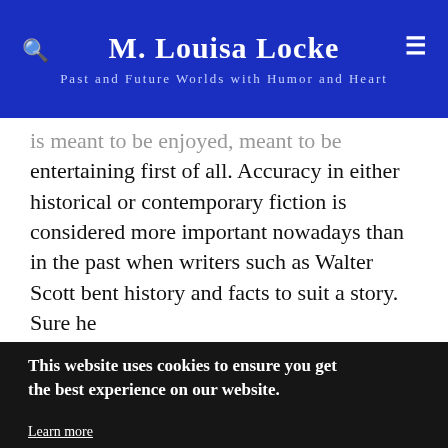M. Louisa Locke
Past and Future Worlds with Humor and Heart
is meant to be enjoyed, meant to be entertaining first of all. Accuracy in either historical or contemporary fiction is considered more important nowadays than in the past when writers such as Walter Scott bent history and facts to suit a story. Sure he
This website uses cookies to ensure you get the best experience on our website.
Learn more
Got it!
to like, and historians by calling,